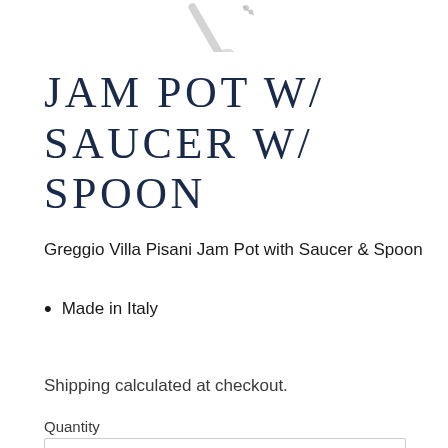[Figure (photo): Partial view of a silver spoon at the top of the page]
JAM POT W/ SAUCER W/ SPOON
Greggio Villa Pisani Jam Pot with Saucer & Spoon
Made in Italy
Shipping calculated at checkout.
Quantity